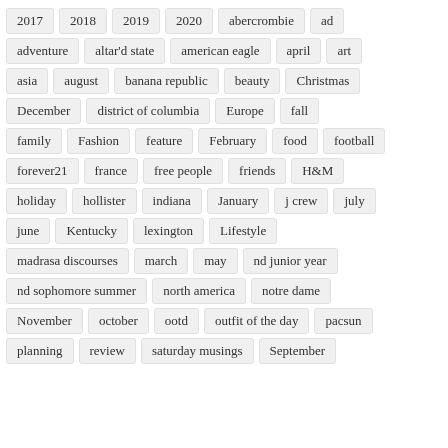2017
2018
2019
2020
abercrombie
ad
adventure
altar'd state
american eagle
april
art
asia
august
banana republic
beauty
Christmas
December
district of columbia
Europe
fall
family
Fashion
feature
February
food
football
forever21
france
free people
friends
H&M
holiday
hollister
indiana
January
j crew
july
june
Kentucky
lexington
Lifestyle
madrasa discourses
march
may
nd junior year
nd sophomore summer
north america
notre dame
November
october
ootd
outfit of the day
pacsun
planning
review
saturday musings
September